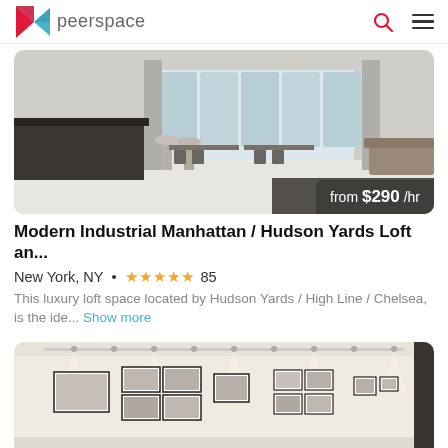peerspace
[Figure (photo): Modern industrial loft interior with black bar counter in foreground, white bar stools, concrete columns, large windows, dining tables in background. Price badge shows 'from $290 /hr'.]
Modern Industrial Manhattan / Hudson Yards Loft an...
New York, NY • ★★★★★ 85
This luxury loft space located by Hudson Yards / High Line / Chelsea, is the ide... Show more
[Figure (photo): White gallery space with track lighting and framed black and white photographs hung on cream-colored walls.]